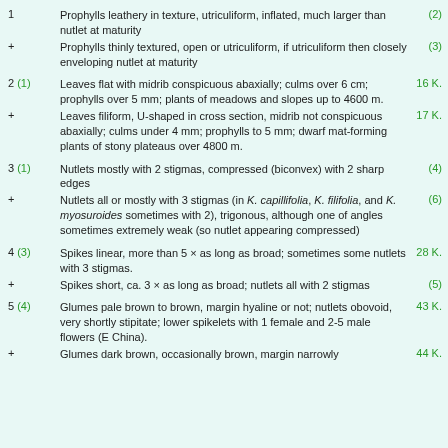1   Prophylls leathery in texture, utriculiform, inflated, much larger than nutlet at maturity   (2)
+   Prophylls thinly textured, open or utriculiform, if utriculiform then closely enveloping nutlet at maturity   (3)
2 (1)   Leaves flat with midrib conspicuous abaxially; culms over 6 cm; prophylls over 5 mm; plants of meadows and slopes up to 4600 m.   16 K.
+   Leaves filiform, U-shaped in cross section, midrib not conspicuous abaxially; culms under 4 mm; prophylls to 5 mm; dwarf mat-forming plants of stony plateaus over 4800 m.   17 K.
3 (1)   Nutlets mostly with 2 stigmas, compressed (biconvex) with 2 sharp edges   (4)
+   Nutlets all or mostly with 3 stigmas (in K. capillifolia, K. filifolia, and K. myosuroides sometimes with 2), trigonous, although one of angles sometimes extremely weak (so nutlet appearing compressed)   (6)
4 (3)   Spikes linear, more than 5 × as long as broad; sometimes some nutlets with 3 stigmas.   28 K.
+   Spikes short, ca. 3 × as long as broad; nutlets all with 2 stigmas   (5)
5 (4)   Glumes pale brown to brown, margin hyaline or not; nutlets obovoid, very shortly stipitate; lower spikelets with 1 female and 2-5 male flowers (E China).   43 K.
+   Glumes dark brown, occasionally brown, margin narrowly   44 K.